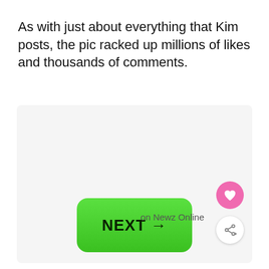As with just about everything that Kim posts, the pic racked up millions of likes and thousands of comments.
[Figure (screenshot): A light gray card/panel containing a green rounded button labeled NEXT → in the center, with 'on Newz Online' text and social action buttons (heart and share) in the bottom right corner.]